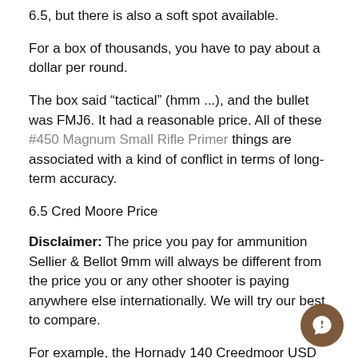6.5, but there is also a soft spot available.
For a box of thousands, you have to pay about a dollar per round.
The box said “tactical” (hmm ...), and the bullet was FMJ6. It had a reasonable price. All of these #450 Magnum Small Rifle Primer things are associated with a kind of conflict in terms of long-term accuracy.
6.5 Cred Moore Price
Disclaimer: The price you pay for ammunition Sellier & Bellot 9mm will always be different from the price you or any other shooter is paying anywhere else internationally. We will try our best to compare.
For example, the Hornady 140 Creedmoor USD costs around 1.5 USD each. (Fountain)